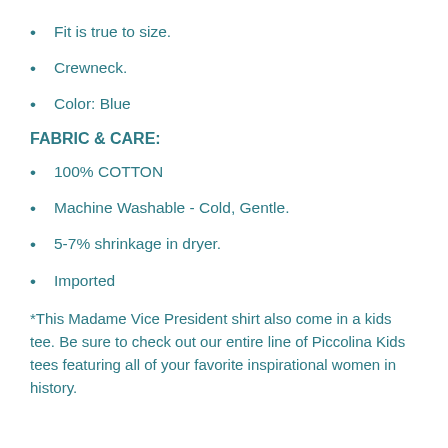Fit is true to size.
Crewneck.
Color: Blue
FABRIC & CARE:
100% COTTON
Machine Washable - Cold, Gentle.
5-7% shrinkage in dryer.
Imported
*This Madame Vice President shirt also come in a kids tee. Be sure to check out our entire line of Piccolina Kids tees featuring all of your favorite inspirational women in history.